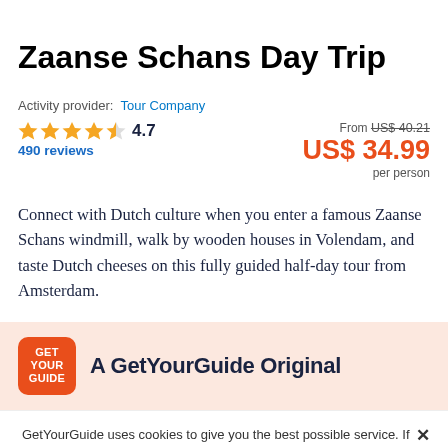Zaanse Schans Day Trip
Activity provider: Tour Company
★★★★½ 4.7 — 490 reviews — From US$ 40.21 US$ 34.99 per person
Connect with Dutch culture when you enter a famous Zaanse Schans windmill, walk by wooden houses in Volendam, and taste Dutch cheeses on this fully guided half-day tour from Amsterdam.
A GetYourGuide Original
GetYourGuide uses cookies to give you the best possible service. If you continue browsing, you agree to the use of cookies. More details can be found in our privacy policy.